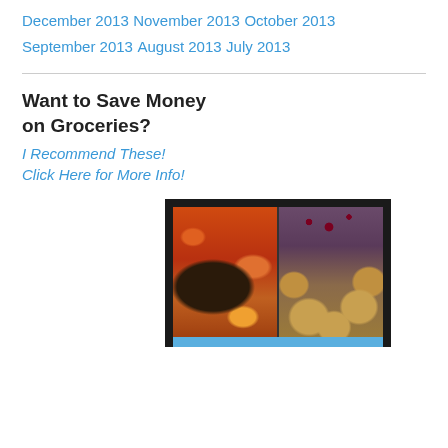December 2013
November 2013
October 2013
September 2013
August 2013
July 2013
Want to Save Money on Groceries?
I Recommend These!
Click Here for More Info!
[Figure (photo): Two food photos side by side: left shows a roast with carrots and potatoes in a blue slow cooker, right shows biscuits/rolls with berries on a red cloth background]